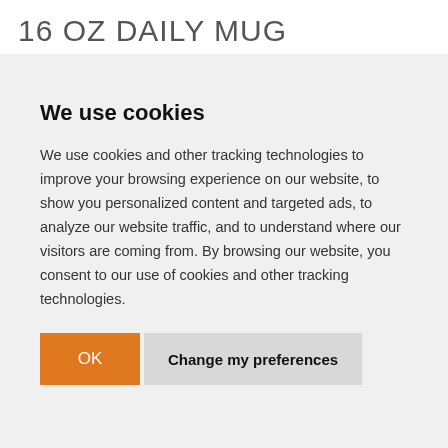16 OZ DAILY MUG
Product Code: [XXXXX]
We use cookies
We use cookies and other tracking technologies to improve your browsing experience on our website, to show you personalized content and targeted ads, to analyze our website traffic, and to understand where our visitors are coming from. By browsing our website, you consent to our use of cookies and other tracking technologies.
OK | Change my preferences